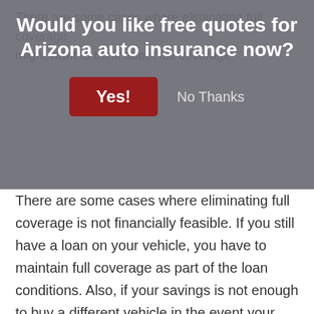[Figure (screenshot): Modal popup overlay asking 'Would you like free quotes for Arizona auto insurance now?' with a red 'Yes!' button and a 'No Thanks' text button, displayed over a semi-transparent gray background.]
There are some cases where eliminating full coverage is not financially feasible. If you still have a loan on your vehicle, you have to maintain full coverage as part of the loan conditions. Also, if your savings is not enough to buy a different vehicle in the event your current vehicle is totaled, you should not eliminate full coverage.
How You Can Control Scion tC Insurance Costs
Lots of factors are used in the calculation when premium rates are determined. Some of the criteria